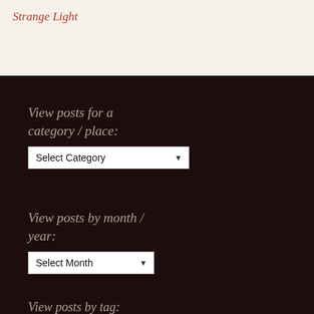Strange Light
View posts for a category / place:
Select Category
View posts by month / year:
Select Month
View posts by tag:
Alligator (31) Anhinga (13)
Antiques (31) astronomy (19)